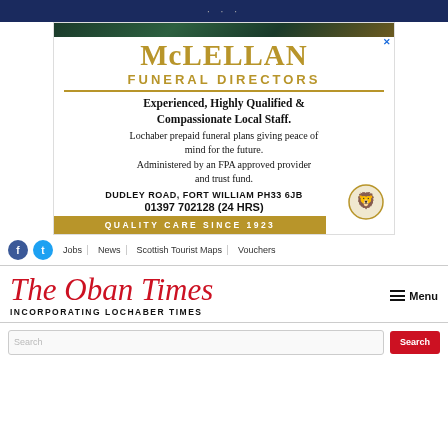· · ·
[Figure (illustration): McLellan Funeral Directors advertisement with tartan banner, gold text, crest logo, and gold quality bar]
Experienced, Highly Qualified & Compassionate Local Staff. Lochaber prepaid funeral plans giving peace of mind for the future. Administered by an FPA approved provider and trust fund. DUDLEY ROAD, FORT WILLIAM PH33 6JB 01397 702128 (24 HRS) QUALITY CARE SINCE 1923
Jobs | News | Scottish Tourist Maps | Vouchers
The Oban Times INCORPORATING LOCHABER TIMES
Search